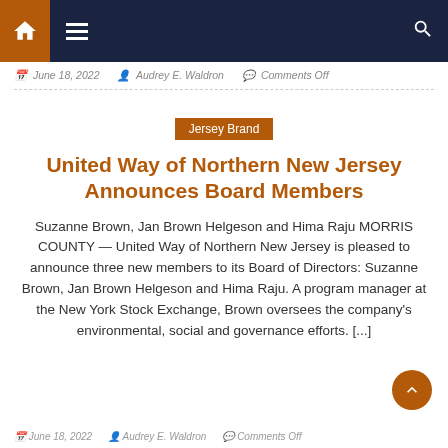Navigation bar with home, menu, and search icons
June 18, 2022  Audrey E. Waldron  Comments Off
Jersey Brand
United Way of Northern New Jersey Announces Board Members
Suzanne Brown, Jan Brown Helgeson and Hima Raju MORRIS COUNTY — United Way of Northern New Jersey is pleased to announce three new members to its Board of Directors: Suzanne Brown, Jan Brown Helgeson and Hima Raju. A program manager at the New York Stock Exchange, Brown oversees the company's environmental, social and governance efforts. [...]
June 18, 2022  Audrey E. Waldron  Comments Off